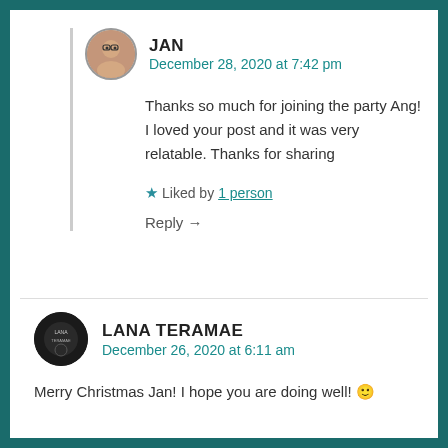JAN
December 28, 2020 at 7:42 pm
Thanks so much for joining the party Ang! I loved your post and it was very relatable. Thanks for sharing
★ Liked by 1 person
Reply →
LANA TERAMAE
December 26, 2020 at 6:11 am
Merry Christmas Jan! I hope you are doing well! 🙂